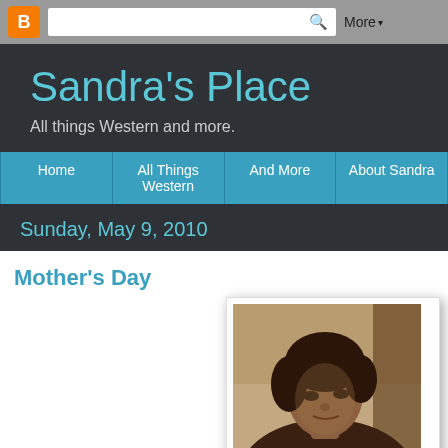Blogger navigation bar with search and More button
Sandra's Place
All things Western and more.
Home | All Things Western | And More | About Sandra
Sunday, May 9, 2010
Mother's Day
[Figure (photo): Sepia-toned vintage photograph of a woman with dark hair, looking slightly downward]